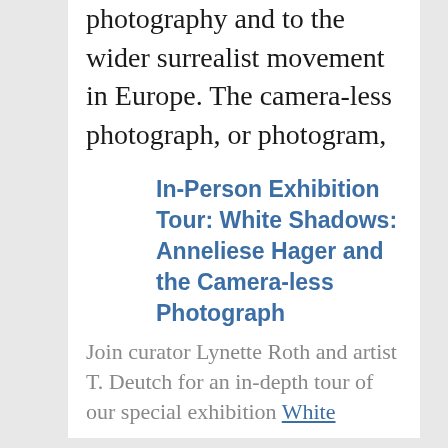photography and to the wider surrealist movement in Europe. The camera-less photograph, or photogram, is an image made by placing objects directly on (or in close proximity to)...
In-Person Exhibition Tour: White Shadows: Anneliese Hager and the Camera-less Photograph
Location: Harvard Art Museums, 32 Quincy St., Cambridge
Join curator Lynette Roth and artist T. Deutch for an in-depth tour of our special exhibition White